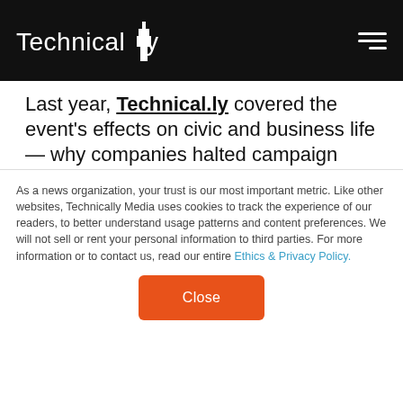Technically
Last year, Technical.ly covered the event's effects on civic and business life — why companies halted campaign donations, the efforts of Big Tech to boot Parler, and how to talk to your team about it all:
[Figure (screenshot): Dark banner image with Technically logo/icon centered]
As a news organization, your trust is our most important metric. Like other websites, Technically Media uses cookies to track the experience of our readers, to better understand usage patterns and content preferences. We will not sell or rent your personal information to third parties. For more information or to contact us, read our entire Ethics & Privacy Policy.
Close